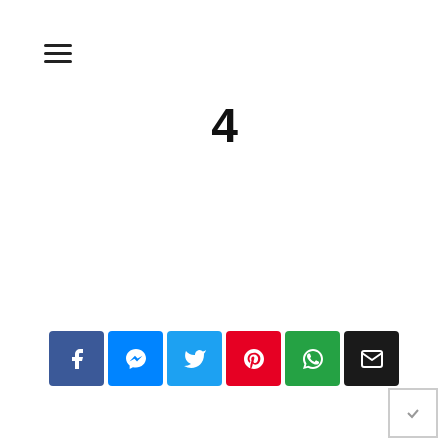≡ (hamburger menu icon)
4
[Figure (infographic): Row of six social media share buttons: Facebook (blue), Messenger (blue), Twitter (light blue), Pinterest (red), WhatsApp (green), Email (black)]
[Figure (other): Small square icon box in bottom right corner]